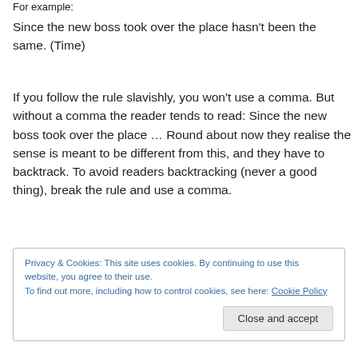For example:
Since the new boss took over the place hasn't been the same. (Time)
If you follow the rule slavishly, you won't use a comma. But without a comma the reader tends to read: Since the new boss took over the place … Round about now they realise the sense is meant to be different from this, and they have to backtrack. To avoid readers backtracking (never a good thing), break the rule and use a comma.
Privacy & Cookies: This site uses cookies. By continuing to use this website, you agree to their use. To find out more, including how to control cookies, see here: Cookie Policy